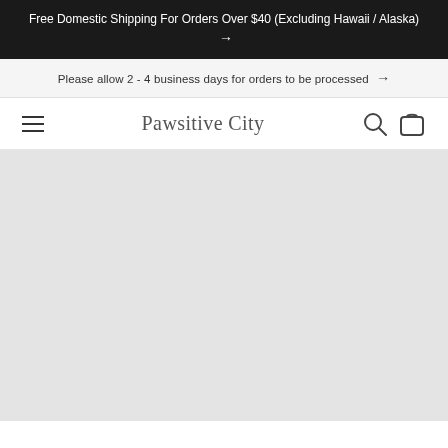Free Domestic Shipping For Orders Over $40 (Excluding Hawaii / Alaska) →
Please allow 2 - 4 business days for orders to be processed →
Pawsitive City
[Figure (other): Large grey/light content area placeholder below navigation bar]